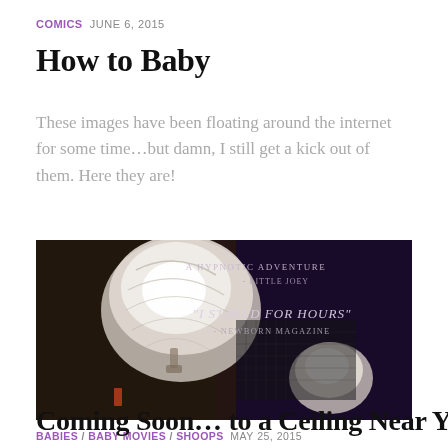COMICS  JUNE 6, 2015
How to Baby
These images have been floating around the internet for some time…but damn, I still get a kick out of them. Here they are!
[Figure (photo): Photo of ceiling light fixture viewed from below, with dark background and movie-poster style text overlay reading: 'A HYPNOTIC ADVENTURE - LITTLE JOEY' and '"I STARED FOR HOURS" - NEWBORN MAGAZINE']
BABIES / BABY MOVIES / SHOOPS  MAY 25, 2015
Coming Soon… to a Ceiling Near You